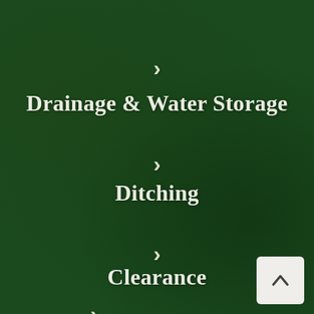Drainage & Water Storage
Ditching
Clearance
Bulk Excavations